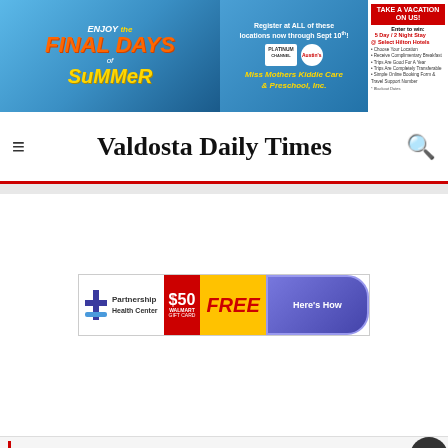[Figure (infographic): Banner advertisement: 'ENJOY the FINAL DAYS of SUMMER' with beach scene, registration info for Platinum Channel and Austin's locations through Sept 10th, Miss Mothers Kiddie Care & Preschool Inc. logo, and 'TAKE A VACATION ON US!' contest ad for 5 Day/2 Night stay at Select Hilton Hotels]
Valdosta Daily Times
[Figure (infographic): Partnership Health Center advertisement: $50 Walmart Gift Card FREE - Here's How]
NEXT UP